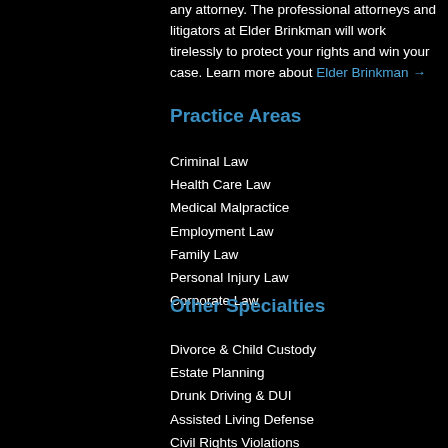any attorney. The professional attorneys and litigators at Elder Brinkman will work tirelessly to protect your rights and win your case. Learn more about Elder Brinkman →
Practice Areas
Criminal Law
Health Care Law
Medical Malpractice
Employment Law
Family Law
Personal Injury Law
Corporate Law
Other Specialties
Divorce & Child Custody
Estate Planning
Drunk Driving & DUI
Assisted Living Defense
Civil Rights Violations
Expungement Law